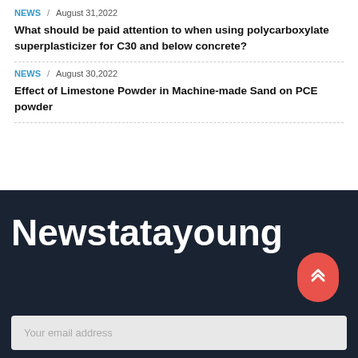NEWS / August 31,2022
What should be paid attention to when using polycarboxylate superplasticizer for C30 and below concrete?
NEWS / August 30,2022
Effect of Limestone Powder in Machine-made Sand on PCE powder
Newstatayoung
Your email address